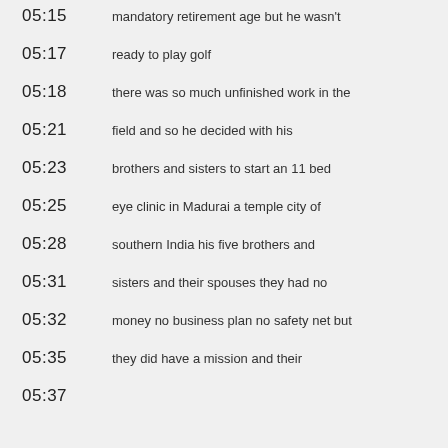05:15  mandatory retirement age but he wasn't
05:17  ready to play golf
05:18  there was so much unfinished work in the
05:21  field and so he decided with his
05:23  brothers and sisters to start an 11 bed
05:25  eye clinic in Madurai a temple city of
05:28  southern India his five brothers and
05:31  sisters and their spouses they had no
05:32  money no business plan no safety net but
05:35  they did have a mission and their
05:37  ...